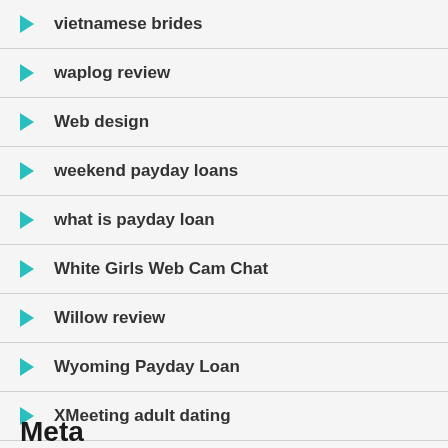vietnamese brides
waplog review
Web design
weekend payday loans
what is payday loan
White Girls Web Cam Chat
Willow review
Wyoming Payday Loan
XMeeting adult dating
Xmeets review
Meta